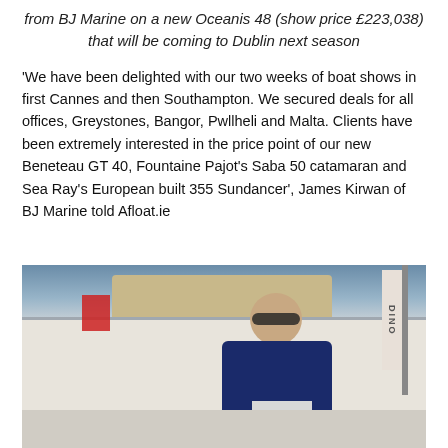from BJ Marine on a new Oceanis 48 (show price £223,038) that will be coming to Dublin next season
'We have been delighted with our two weeks of boat shows in first Cannes and then Southampton. We secured deals for all offices, Greystones, Bangor, Pwllheli and Malta. Clients have been extremely interested in the price point of our new Beneteau GT 40, Fountaine Pajot's Saba 50 catamaran and Sea Ray's European built 355 Sundancer', James Kirwan of BJ Marine told Afloat.ie
[Figure (photo): A man wearing sunglasses and a navy jacket with a name badge stands smiling on a boat at a boat show, gesturing with his right arm toward the boat. The background shows boat canopies, rigging, and a cloudy sky.]